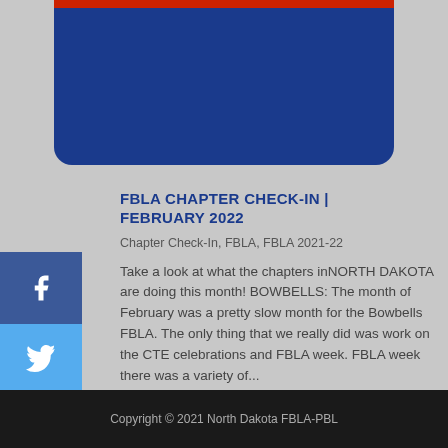[Figure (illustration): Dark blue banner with red top bar, rounded bottom corners, on gray background]
FBLA CHAPTER CHECK-IN | FEBRUARY 2022
Chapter Check-In, FBLA, FBLA 2021-22
Take a look at what the chapters inNORTH DAKOTA are doing this month! BOWBELLS: The month of February was a pretty slow month for the Bowbells FBLA. The only thing that we really did was work on the CTE celebrations and FBLA week. FBLA week there was a variety of...
read more
Copyright © 2021 North Dakota FBLA-PBL